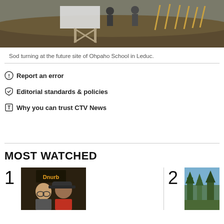[Figure (photo): Sod turning ceremony at the future site of Ohpaho School in Leduc, showing people with shovels on a dirt mound.]
Sod turning at the future site of Ohpaho School in Leduc.
Report an error
Editorial standards & policies
Why you can trust CTV News
MOST WATCHED
[Figure (photo): Two men posing for a photo inside what appears to be a restaurant. Item number 1 in Most Watched list.]
[Figure (photo): Outdoor nature scene with trees. Item number 2 in Most Watched list.]